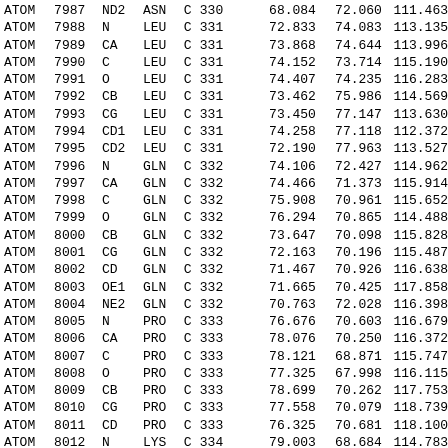| type | serial | name | res | chain | seqnum |  | x | y | z |
| --- | --- | --- | --- | --- | --- | --- | --- | --- | --- |
| ATOM | 7987 | ND2 | ASN | C | 330 |  | 68.084 | 72.060 | 111.463 |
| ATOM | 7988 | N | LEU | C | 331 |  | 72.833 | 74.083 | 113.135 |
| ATOM | 7989 | CA | LEU | C | 331 |  | 73.868 | 74.644 | 113.996 |
| ATOM | 7990 | C | LEU | C | 331 |  | 74.152 | 73.714 | 115.190 |
| ATOM | 7991 | O | LEU | C | 331 |  | 74.407 | 74.235 | 116.283 |
| ATOM | 7992 | CB | LEU | C | 331 |  | 73.462 | 75.986 | 114.569 |
| ATOM | 7993 | CG | LEU | C | 331 |  | 73.450 | 77.147 | 113.630 |
| ATOM | 7994 | CD1 | LEU | C | 331 |  | 74.258 | 77.118 | 112.372 |
| ATOM | 7995 | CD2 | LEU | C | 331 |  | 72.190 | 77.963 | 113.527 |
| ATOM | 7996 | N | GLN | C | 332 |  | 74.106 | 72.427 | 114.962 |
| ATOM | 7997 | CA | GLN | C | 332 |  | 74.466 | 71.373 | 115.914 |
| ATOM | 7998 | C | GLN | C | 332 |  | 75.908 | 70.961 | 115.652 |
| ATOM | 7999 | O | GLN | C | 332 |  | 76.294 | 70.865 | 114.488 |
| ATOM | 8000 | CB | GLN | C | 332 |  | 73.647 | 70.098 | 115.828 |
| ATOM | 8001 | CG | GLN | C | 332 |  | 72.163 | 70.196 | 115.487 |
| ATOM | 8002 | CD | GLN | C | 332 |  | 71.467 | 70.926 | 116.638 |
| ATOM | 8003 | OE1 | GLN | C | 332 |  | 71.665 | 70.425 | 117.858 |
| ATOM | 8004 | NE2 | GLN | C | 332 |  | 70.763 | 72.028 | 116.398 |
| ATOM | 8005 | N | PRO | C | 333 |  | 76.676 | 70.603 | 116.679 |
| ATOM | 8006 | CA | PRO | C | 333 |  | 78.076 | 70.250 | 116.372 |
| ATOM | 8007 | C | PRO | C | 333 |  | 78.121 | 68.871 | 115.747 |
| ATOM | 8008 | O | PRO | C | 333 |  | 77.325 | 67.998 | 116.115 |
| ATOM | 8009 | CB | PRO | C | 333 |  | 78.699 | 70.262 | 117.753 |
| ATOM | 8010 | CG | PRO | C | 333 |  | 77.558 | 70.079 | 118.739 |
| ATOM | 8011 | CD | PRO | C | 333 |  | 76.325 | 70.681 | 118.100 |
| ATOM | 8012 | N | LYS | C | 334 |  | 79.003 | 68.684 | 114.783 |
| ATOM | 8013 | CA | LYS | C | 334 |  | 79.119 | 67.388 | 114.091 |
| ATOM | 8014 | C | LYS | C | 334 |  | 80.128 | 66.508 | 114.806 |
| ATOM | 8015 | O | LYS | C | 334 |  | 80.855 | 66.935 | 115.710 |
| ATOM | 8016 | CB | LYS | C | 334 |  | 79.472 | 67.635 | 112.620 |